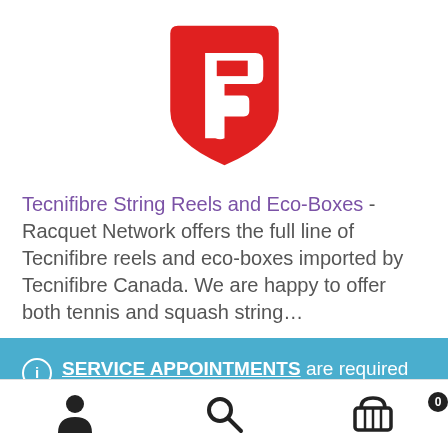[Figure (logo): Tecnifibre red logo — shield shape with stylized white 'F' arrow]
Tecnifibre String Reels and Eco-Boxes - Racquet Network offers the full line of Tecnifibre reels and eco-boxes imported by Tecnifibre Canada. We are happy to offer both tennis and squash string…
SERVICE APPOINTMENTS are required for shoes, racquet demos, and 1-hour racquet stringing. All other services are available on a walk-in basis. Dismiss
[Figure (infographic): Bottom navigation bar with person icon, search magnifying glass icon, and shopping basket icon with badge showing 0]